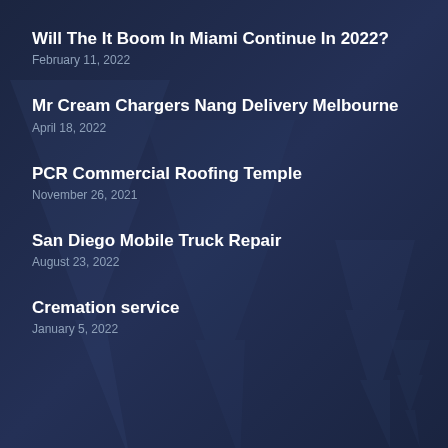Will The It Boom In Miami Continue In 2022?
February 11, 2022
Mr Cream Chargers Nang Delivery Melbourne
April 18, 2022
PCR Commercial Roofing Temple
November 26, 2021
San Diego Mobile Truck Repair
August 23, 2022
Cremation service
January 5, 2022